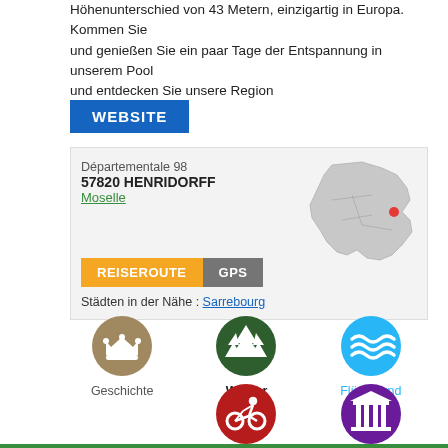Höhenunterschied von 43 Metern, einzigartig in Europa. Kommen Sie und genießen Sie ein paar Tage der Entspannung in unserem Pool und entdecken Sie unsere Region
WEBSITE
Départementale 98
57820 HENRIDORFF
Moselle
REISEROUTE
GPS
Städten in der Nähe : Sarrebourg
[Figure (map): Outline map of Moselle department with a red dot indicating location of Henridorff]
[Figure (infographic): Three circular icons: Geschichte (brown crown), Wälder (dark green trees), Flüsse und Bäche (blue waves)]
[Figure (infographic): Two circular icons: Freizeit und Aktivitäten (dark red cyclist), Besondere Sehenswürdigkeiten (purple building/columns)]